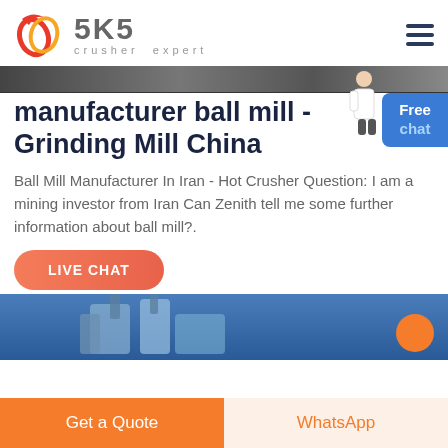[Figure (logo): SKS crusher expert logo with stylized red/orange interlocking circles and grey SKS text]
manufacturer ball mill - Grinding Mill China
Ball Mill Manufacturer In Iran - Hot Crusher Question: I am a mining investor from Iran Can Zenith tell me some further information about ball mill?.
[Figure (photo): Industrial ball mill equipment photo on blue background]
Get a Quote
WhatsApp